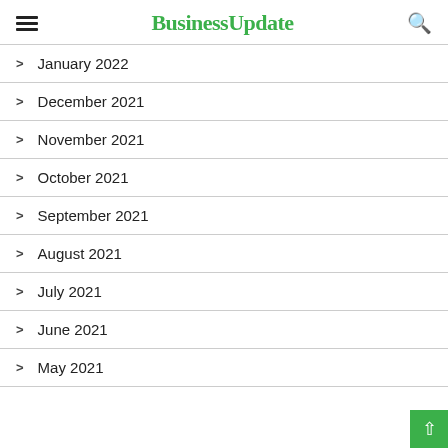BusinessUpdate
January 2022
December 2021
November 2021
October 2021
September 2021
August 2021
July 2021
June 2021
May 2021